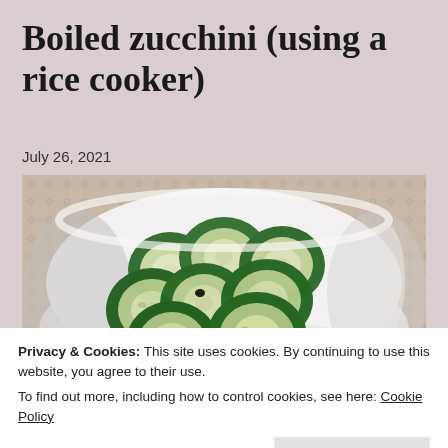Boiled zucchini (using a rice cooker)
July 26, 2021
[Figure (photo): A white bowl filled with boiled zucchini slices, placed on a lace tablecloth. The zucchini rounds are dark green on the edges with pale centers, glistening with moisture.]
Privacy & Cookies: This site uses cookies. By continuing to use this website, you agree to their use.
To find out more, including how to control cookies, see here: Cookie Policy
Close and accept